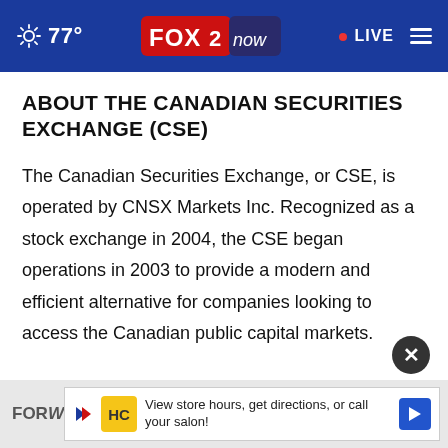FOX 2 now | 77° | LIVE
ABOUT THE CANADIAN SECURITIES EXCHANGE (CSE)
The Canadian Securities Exchange, or CSE, is operated by CNSX Markets Inc. Recognized as a stock exchange in 2004, the CSE began operations in 2003 to provide a modern and efficient alternative for companies looking to access the Canadian public capital markets.
FORW | View store hours, get directions, or call your salon!